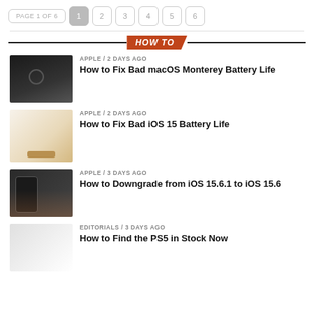PAGE 1 OF 6  1  2  3  4  5  6
HOW TO
APPLE / 2 days ago
How to Fix Bad macOS Monterey Battery Life
APPLE / 2 days ago
How to Fix Bad iOS 15 Battery Life
APPLE / 3 days ago
How to Downgrade from iOS 15.6.1 to iOS 15.6
EDITORIALS / 3 days ago
How to Find the PS5 in Stock Now